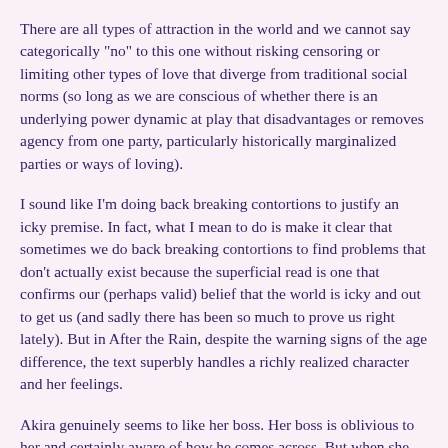There are all types of attraction in the world and we cannot say categorically "no" to this one without risking censoring or limiting other types of love that diverge from traditional social norms (so long as we are conscious of whether there is an underlying power dynamic at play that disadvantages or removes agency from one party, particularly historically marginalized parties or ways of loving).
I sound like I'm doing back breaking contortions to justify an icky premise. In fact, what I mean to do is make it clear that sometimes we do back breaking contortions to find problems that don't actually exist because the superficial read is one that confirms our (perhaps valid) belief that the world is icky and out to get us (and sadly there has been so much to prove us right lately). But in After the Rain, despite the warning signs of the age difference, the text superbly handles a richly realized character and her feelings.
Akira genuinely seems to like her boss. Her boss is oblivious to her and certainly aware of how he comes across. But when she tells him she likes him, she doesn't dither, even when it doesn't get through the first time. Time will tell if Mayuzuki-sensei maintains